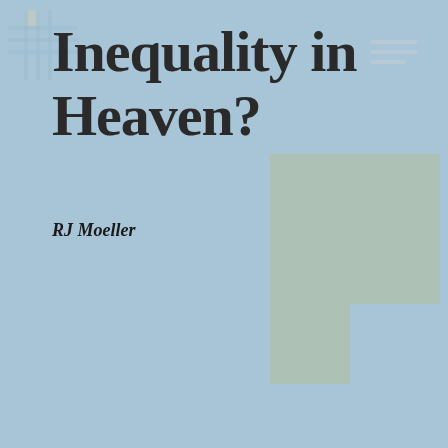Inequality in Heaven?
RJ Moeller
[Figure (illustration): Decorative grid/cross pattern in top-left, hamburger menu icon in top-right, and a sage green L-shaped geometric decoration in the bottom-right. Background is steel blue.]